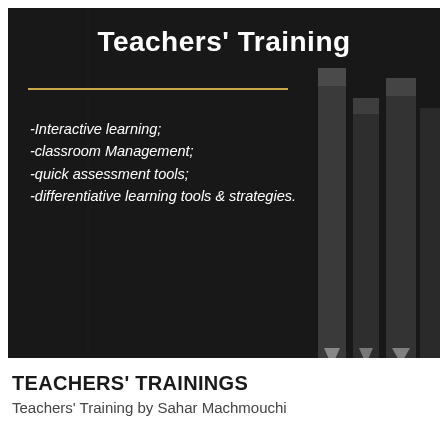[Figure (photo): Dark background panel showing pencils arranged upright, partially visible on the right side against a very dark/black textured background.]
Teachers' Training
-Interactive learning;
-classroom Management;
-quick assessment tools;
-differentiative learning tools & strategies.
TEACHERS' TRAININGS
Teachers' Training by Sahar Machmouchi